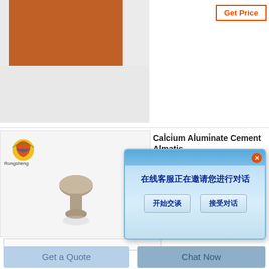[Figure (photo): Brown ceramic/material product photo, top portion visible, square shape on light gray background]
Get Price
[Figure (photo): Rongsheng logo (colorful ball) and product image showing a mushroom-shaped ceramic piece on white/gray background]
Calcium Aluminate Cement Almatis
um Aluminate
6 gram wax
[Figure (screenshot): Chinese language chat popup dialog with message '在线客服正在邀请您进行对话' and two buttons '开始交谈' and '接受对话']
Get Price
Get a Quote
Chat Now